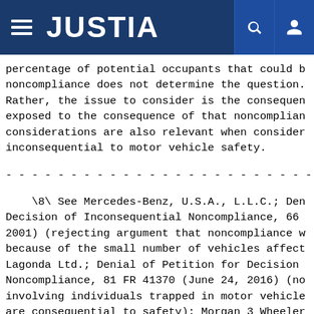JUSTIA
percentage of potential occupants that could b noncompliance does not determine the question. Rather, the issue to consider is the consequen exposed to the consequence of that noncomplian considerations are also relevant when consider inconsequential to motor vehicle safety.
------------------------------------------------------------------------
\8\ See Mercedes-Benz, U.S.A., L.L.C.; Den Decision of Inconsequential Noncompliance, 66 2001) (rejecting argument that noncompliance w because of the small number of vehicles affect Lagonda Ltd.; Denial of Petition for Decision Noncompliance, 81 FR 41370 (June 24, 2016) (no involving individuals trapped in motor vehicle are consequential to safety); Morgan 3 Wheeler Petition for Decision of Inconsequential Non